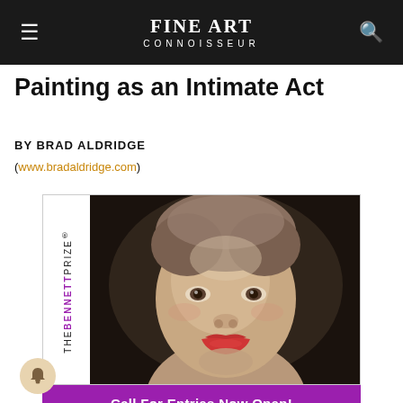FINE ART CONNOISSEUR
Painting as an Intimate Act
BY BRAD ALDRIDGE
(www.bradaldridge.com)
[Figure (illustration): The Bennett Prize advertisement showing a painted portrait of a young girl with red lips against a dark background, with 'THE BENNETT PRIZE' printed vertically on the left side and a purple 'Call For Entries Now Open!' banner at the bottom.]